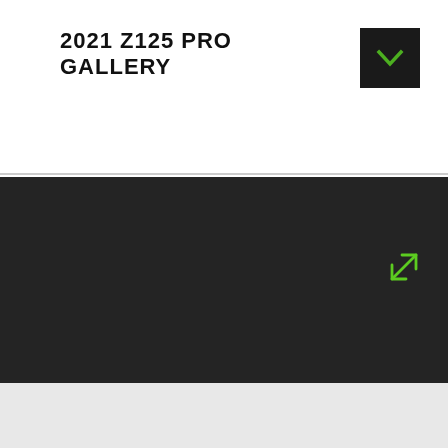2021 Z125 PRO GALLERY
[Figure (screenshot): Dark panel gallery area with four green expand/resize arrow icons arranged vertically on the right side]